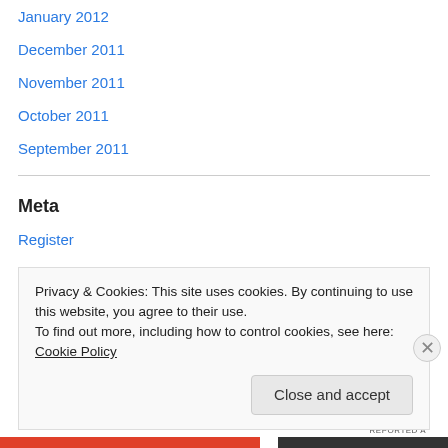January 2012
December 2011
November 2011
October 2011
September 2011
Meta
Register
Log in
Entries feed
Comments feed
Privacy & Cookies: This site uses cookies. By continuing to use this website, you agree to their use.
To find out more, including how to control cookies, see here: Cookie Policy
Close and accept